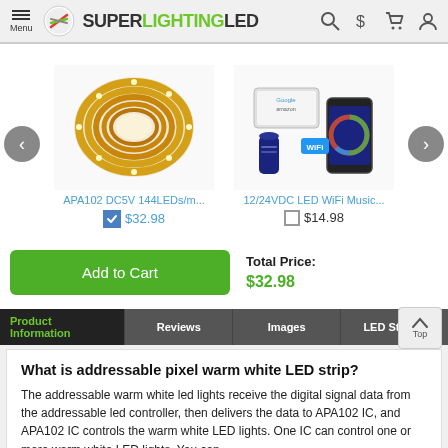SUPERLIGHTINGLED
[Figure (photo): LED strip light coil product image - APA102 DC5V 144LEDs/m]
[Figure (photo): 12/24VDC LED WiFi Music controller product image with Amazon Alexa and Google compatibility]
APA102 DC5V 144LEDs/m...
12/24VDC LED WiFi Music...
$32.98
$14.98
Add to Cart
Total Price:
$32.98
Product Information | Reviews | Images | LED Strip ...
What is addressable pixel warm white LED strip?
The addressable warm white led lights receive the digital signal data from the addressable led controller, then delivers the data to APA102 IC, and APA102 IC controls the warm white LED lights. One IC can control one or more warm white LED lights. You can